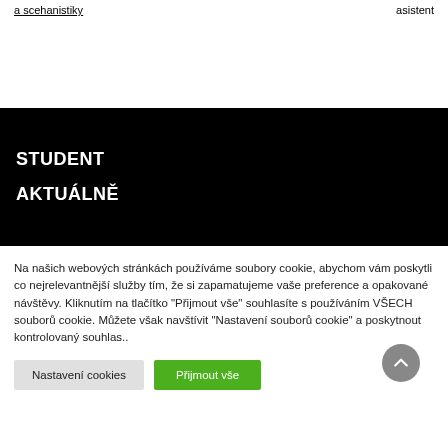a scehanistiky   asistent
STUDENT
AKTUÁLNĚ
Na našich webových stránkách používáme soubory cookie, abychom vám poskytli co nejrelevantnější služby tím, že si zapamatujeme vaše preference a opakované návštěvy. Kliknutím na tlačítko "Přijmout vše" souhlasíte s používáním VŠECH souborů cookie. Můžete však navštívit "Nastavení souborů cookie" a poskytnout kontrolovaný souhlas..
Nastavení cookies   Přijmout vše